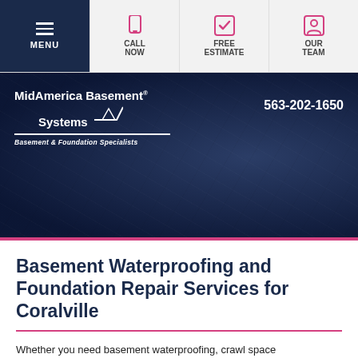MENU | CALL NOW | FREE ESTIMATE | OUR TEAM
[Figure (screenshot): MidAmerica Basement Systems hero banner with logo and phone number 563-202-1650 on dark navy textured background]
Basement Waterproofing and Foundation Repair Services for Coralville
Whether you need basement waterproofing, crawl space encapsulation, concrete leveling, or foundation repair in Coralville, MidAmerica Basement Systems is the company you can trust to get the job done right. Our commitment to quality products and excellent customer service has made us